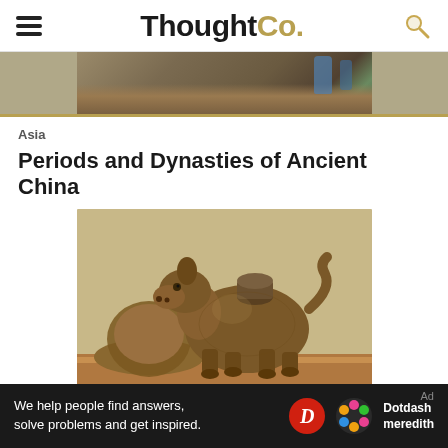ThoughtCo.
[Figure (photo): Partial top image showing an archaeological excavation site with workers and dirt ground]
Asia
Periods and Dynasties of Ancient China
[Figure (photo): Ancient Chinese ceramic animal sculpture (pig or bear shaped vessel) displayed on a wooden surface]
We help people find answers, solve problems and get inspired.
Dotdash meredith